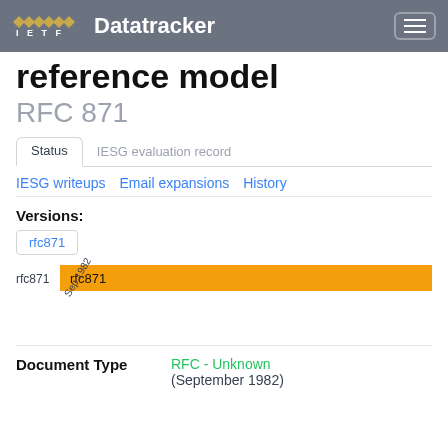IETF Datatracker
reference model
RFC 871
Status  IESG evaluation record
IESG writeups  Email expansions  History
Versions:
rfc871
[Figure (bar-chart): rfc871 timeline]
Document Type
RFC - Unknown (September 1982)